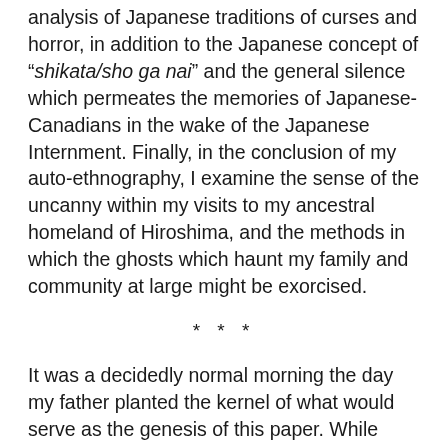analysis of Japanese traditions of curses and horror, in addition to the Japanese concept of "shikata/sho ga nai" and the general silence which permeates the memories of Japanese-Canadians in the wake of the Japanese Internment. Finally, in the conclusion of my auto-ethnography, I examine the sense of the uncanny within my visits to my ancestral homeland of Hiroshima, and the methods in which the ghosts which haunt my family and community at large might be exorcised.
* * *
It was a decidedly normal morning the day my father planted the kernel of what would serve as the genesis of this paper. While whipping a bowl of scrambled eggs he said, not looking up, “Y’know, I’ve been thinking…that sword, I bet it’s cursed.”[1] The sword, keeper of the supposed ‘curse’, is a samurai sword handed down through my family for at least seven generations, and likely more.[2] Missing for decades, the sword resurfaced in the family relatively recently and is